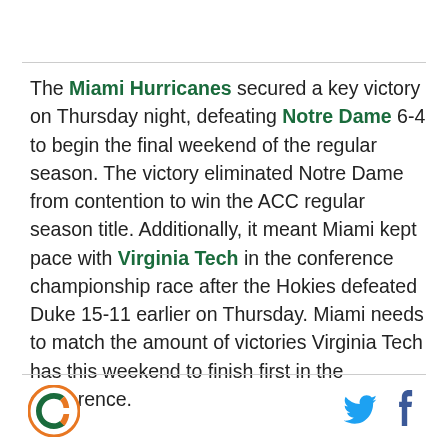The Miami Hurricanes secured a key victory on Thursday night, defeating Notre Dame 6-4 to begin the final weekend of the regular season. The victory eliminated Notre Dame from contention to win the ACC regular season title. Additionally, it meant Miami kept pace with Virginia Tech in the conference championship race after the Hokies defeated Duke 15-11 earlier on Thursday. Miami needs to match the amount of victories Virginia Tech has this weekend to finish first in the conference.
[Figure (logo): Miami Hurricanes circular logo with orange border and green/white emblem]